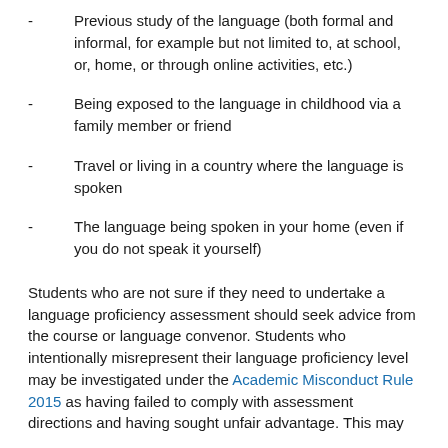Previous study of the language (both formal and informal, for example but not limited to, at school, or, home, or through online activities, etc.)
Being exposed to the language in childhood via a family member or friend
Travel or living in a country where the language is spoken
The language being spoken in your home (even if you do not speak it yourself)
Students who are not sure if they need to undertake a language proficiency assessment should seek advice from the course or language convenor. Students who intentionally misrepresent their language proficiency level may be investigated under the Academic Misconduct Rule 2015 as having failed to comply with assessment directions and having sought unfair advantage. This may